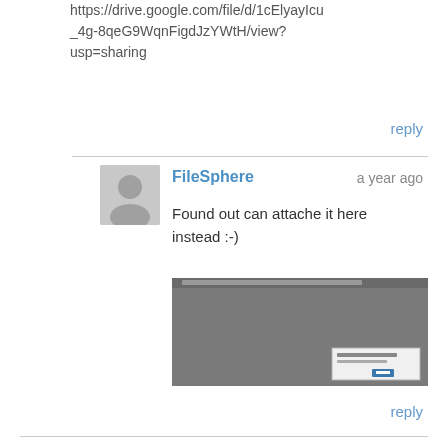https://drive.google.com/file/d/1cElyayIcu_4g-8qeG9WqnFigdJzYWtH/view?usp=sharing
reply
FileSphere   a year ago
Found out can attache it here instead :-)
[Figure (screenshot): A screenshot of a software dialog window with a dark gray background and a small popup dialog box in the lower right corner.]
reply
Business Fundamentals [Provider] [Affiliate]   a year ago
Sorry, the SQL only requires the one line above, the extraneous comments can be stripped out..
reply